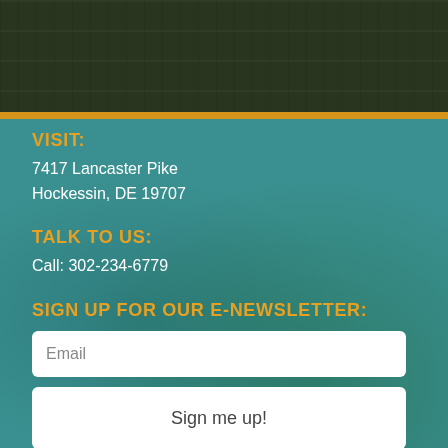[Figure (photo): Dark wood-textured header banner with dark green/brown color]
VISIT:
7417 Lancaster Pike
Hockessin, DE 19707
TALK TO US:
Call: 302-234-6779
SIGN UP FOR OUR E-NEWSLETTER:
Email
Sign me up!
HOURS:
Monday – Saturday: 8 am – 8 pm